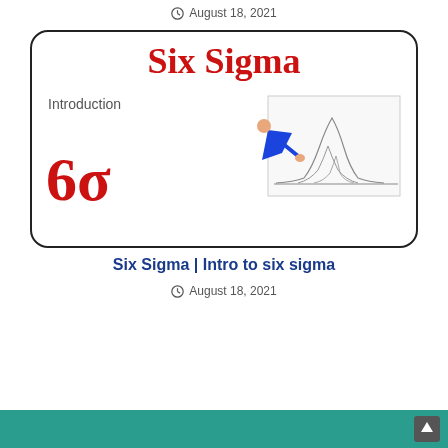August 18, 2021
[Figure (illustration): Six Sigma introduction card with large red 'Six Sigma' text, '6σ' in red, 'Introduction' label, and a small illustration of a person examining a bell curve chart]
Six Sigma | Intro to six sigma
August 18, 2021
[Figure (illustration): Teal/green banner at bottom of page, partially visible]